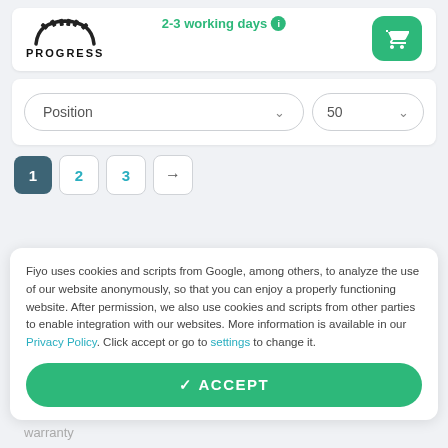2-3 working days
[Figure (logo): Progress brand logo with gear arc and PROGRESS text]
[Figure (other): Green rounded shopping cart button]
Position
50
1 2 3 →
Fiyo uses cookies and scripts from Google, among others, to analyze the use of our website anonymously, so that you can enjoy a properly functioning website. After permission, we also use cookies and scripts from other parties to enable integration with our websites. More information is available in our Privacy Policy. Click accept or go to settings to change it.
✓ ACCEPT
warranty